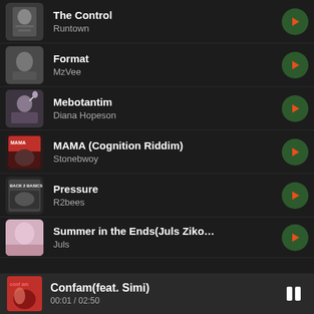The Control – Runtown
Format – MzVee
Mebotantim – Diana Hopeson
MAMA (Cognition Riddim) – Stonebwoy
Pressure – R2bees
Summer in the Ends(Juls Zikomo Remi... – Juls
Confam(feat. Simi) — 00:01 / 02:50